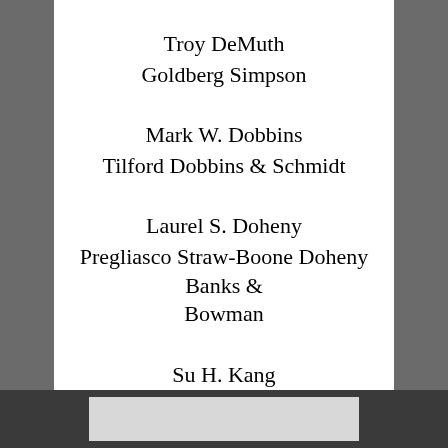Troy DeMuth
Goldberg Simpson
Mark W. Dobbins
Tilford Dobbins & Schmidt
Laurel S. Doheny
Pregliasco Straw-Boone Doheny Banks & Bowman
Su H. Kang
Seiller Waterman